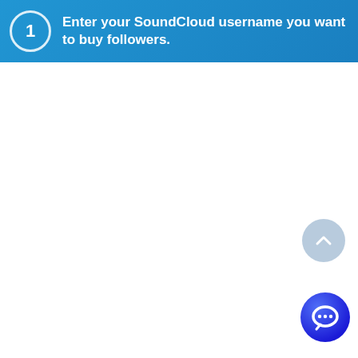1 Enter your SoundCloud username you want to buy followers.
[Figure (illustration): Scroll-to-top button: a circular button with a light blue-grey background and a white upward chevron arrow.]
[Figure (illustration): Chat/support button: a circular icon with a blue-to-purple gradient background and a white speech bubble icon.]